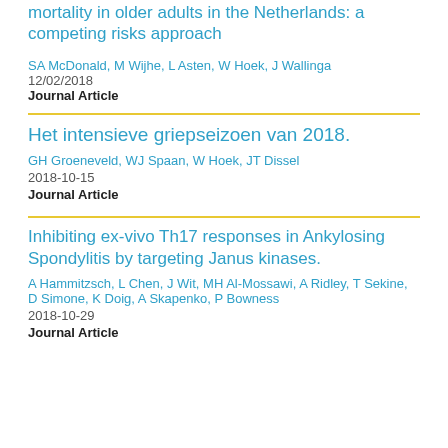mortality in older adults in the Netherlands: a competing risks approach
SA McDonald, M Wijhe, L Asten, W Hoek, J Wallinga
12/02/2018
Journal Article
Het intensieve griepseizoen van 2018.
GH Groeneveld, WJ Spaan, W Hoek, JT Dissel
2018-10-15
Journal Article
Inhibiting ex-vivo Th17 responses in Ankylosing Spondylitis by targeting Janus kinases.
A Hammitzsch, L Chen, J Wit, MH Al-Mossawi, A Ridley, T Sekine, D Simone, K Doig, A Skapenko, P Bowness
2018-10-29
Journal Article